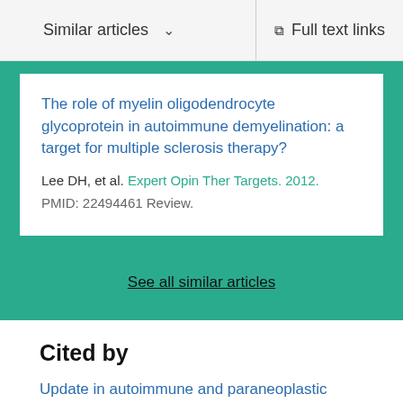Similar articles  ∨   Full text links
The role of myelin oligodendrocyte glycoprotein in autoimmune demyelination: a target for multiple sclerosis therapy?
Lee DH, et al. Expert Opin Ther Targets. 2012.
PMID: 22494461 Review.
See all similar articles
Cited by
Update in autoimmune and paraneoplastic myelopathies: Newly described antigen targets and antibody detection...